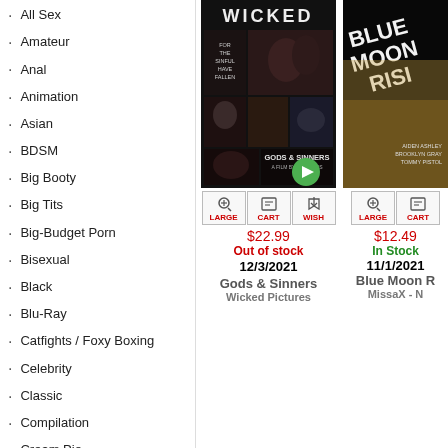All Sex
Amateur
Anal
Animation
Asian
BDSM
Big Booty
Big Tits
Big-Budget Porn
Bisexual
Black
Blu-Ray
Catfights / Foxy Boxing
Celebrity
Classic
Compilation
Cream Pie
Cuckold
Double Penetration
DVD Box Set
European
Fat Fetish
Feature
[Figure (photo): Gods & Sinners movie cover - Wicked Pictures]
$22.99
Out of stock
12/3/2021
Gods & Sinners
Wicked Pictures
[Figure (photo): Blue Moon Rising movie cover - MissaX (partially visible)]
$12.49
In Stock
11/1/2021
Blue Moon R...
MissaX - N...